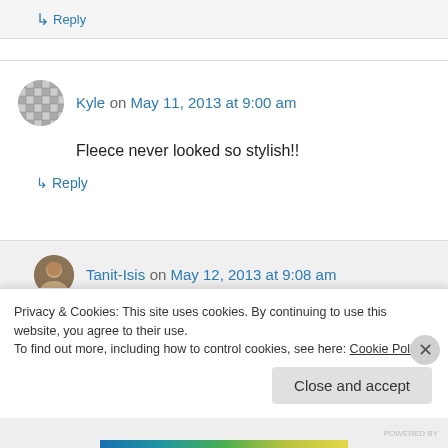↳ Reply
Kyle on May 11, 2013 at 9:00 am
Fleece never looked so stylish!!
↳ Reply
Tanit-Isis on May 12, 2013 at 9:08 am
Oh, yeah!
Privacy & Cookies: This site uses cookies. By continuing to use this website, you agree to their use.
To find out more, including how to control cookies, see here: Cookie Policy
Close and accept